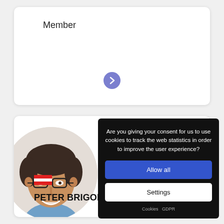Member
[Figure (screenshot): Blue circular arrow button pointing right]
[Figure (photo): Portrait photo of a middle-aged man with glasses and dark hair, smiling, wearing a blue shirt, inside a circular crop on white background]
[Figure (other): Austrian flag icon (two red stripes with white in between)]
PETER BRIGOLA
Are you giving your consent for us to use cookies to track the web statistics in order to improve the user experience?
Allow all
Settings
Cookies GDPR